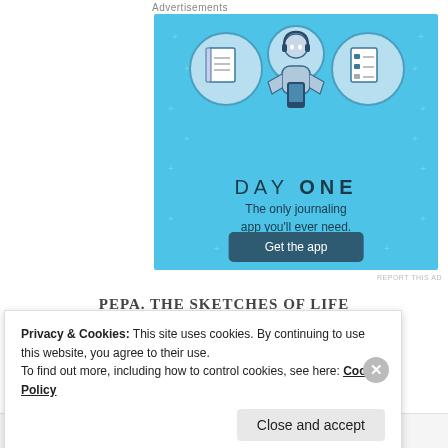Advertisements
[Figure (illustration): Day One journaling app advertisement banner with blue background. Shows three circular icons (notebook, person with headphones using phone, checklist), and the person figure in center. Text: DAY ONE - The only journaling app you'll ever need. Button: Get the app.]
REPORT THIS AD
PEPA. THE SKETCHES OF LIFE
Privacy & Cookies: This site uses cookies. By continuing to use this website, you agree to their use.
To find out more, including how to control cookies, see here: Cookie Policy
Close and accept